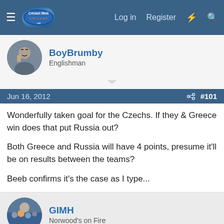CricketWeb.net — Log in | Register
BoyBrumby
Englishman
Jun 16, 2012  #101
Wonderfully taken goal for the Czechs. If they & Greece win does that put Russia out?

Both Greece and Russia will have 4 points, presume it'll be on results between the teams?

Beeb confirms it's the case as I type...
GIMH
Norwood's on Fire
Jun 16, 2012  #102
Wouldn't be sad to see Russia to go out because, well, they're